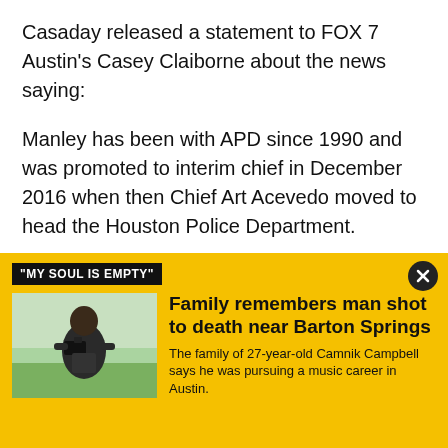Casaday released a statement to FOX 7 Austin's Casey Claiborne about the news saying:
Manley has been with APD since 1990 and was promoted to interim chief in December 2016 when then Chief Art Acevedo moved to head the Houston Police Department.
Manley grew up in Austin and graduated from Johnston High School before attending University of Texas Austin to get his bachelor's degree and then St.
[Figure (infographic): Yellow promotional banner with black label '"MY SOUL IS EMPTY"', a photo of a man holding a camera outdoors, headline 'Family remembers man shot to death near Barton Springs', subtext 'The family of 27-year-old Camnik Campbell says he was pursuing a music career in Austin.' and a close button.]